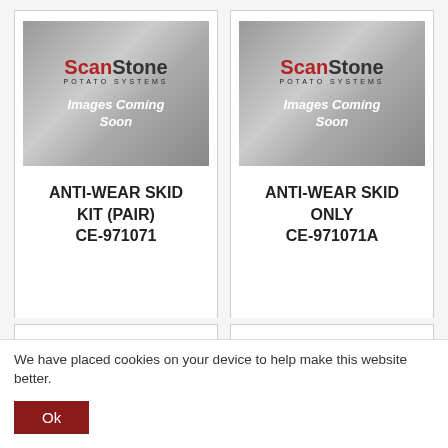[Figure (screenshot): ScanStone Potato Systems placeholder image - 'Images Coming Soon']
ANTI-WEAR SKID KIT (PAIR)
CE-971071
[Figure (screenshot): ScanStone Potato Systems placeholder image - 'Images Coming Soon']
ANTI-WEAR SKID ONLY
CE-971071A
We have placed cookies on your device to help make this website better.